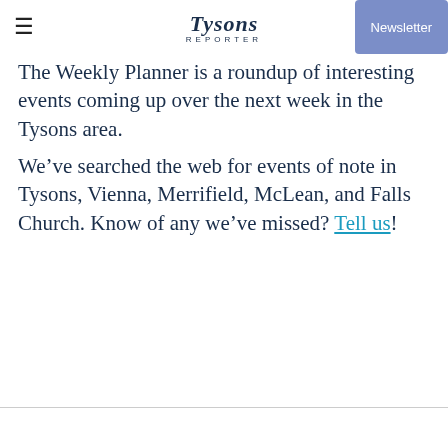Tysons Reporter | Newsletter
The Weekly Planner is a roundup of interesting events coming up over the next week in the Tysons area.
We’ve searched the web for events of note in Tysons, Vienna, Merrifield, McLean, and Falls Church. Know of any we’ve missed? Tell us!